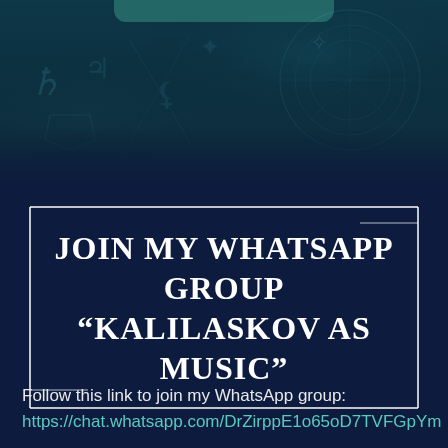[Figure (illustration): Dark teal mystical/astrological background with symbols, runes, and celestial imagery. A teal rounded bar appears at the top center.]
JOIN MY WHATSAPP GROUP “KALILASKOV AS MUSIC”
Follow this link to join my WhatsApp group:
https://chat.whatsapp.com/DrZirppE1o65oD7TVFGpYm